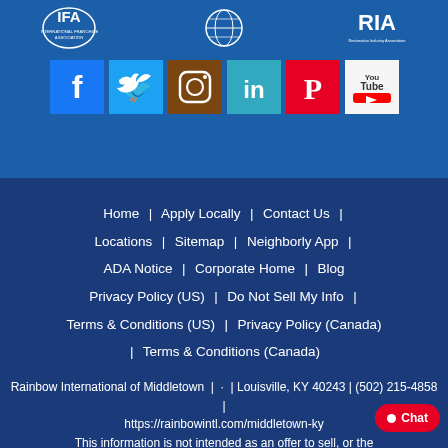[Figure (logo): IFA International Franchise Association logo, IICRC globe logo, RIA Restoration Industry Association logo — top header logos on blue background]
[Figure (infographic): Row of social media icons: Facebook (blue), Twitter (light blue), Instagram (brown), LinkedIn (teal), Pinterest (red), YouTube (white with red)]
Home | Apply Locally | Contact Us | Locations | Sitemap | Neighborly App | ADA Notice | Corporate Home | Blog Privacy Policy (US) | Do Not Sell My Info | Terms & Conditions (US) | Privacy Policy (Canada) | Terms & Conditions (Canada)
Rainbow International of Middletown | · | Louisville, KY 40243 | (502) 215-4858 | https://rainbowintl.com/middletown-ky This information is not intended as an offer to sell, or the